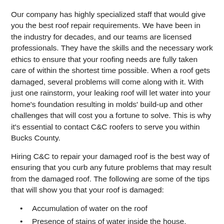Our company has highly specialized staff that would give you the best roof repair requirements. We have been in the industry for decades, and our teams are licensed professionals. They have the skills and the necessary work ethics to ensure that your roofing needs are fully taken care of within the shortest time possible. When a roof gets damaged, several problems will come along with it. With just one rainstorm, your leaking roof will let water into your home's foundation resulting in molds' build-up and other challenges that will cost you a fortune to solve. This is why it's essential to contact C&C roofers to serve you within Bucks County.
Hiring C&C to repair your damaged roof is the best way of ensuring that you curb any future problems that may result from the damaged roof. The following are some of the tips that will show you that your roof is damaged:
Accumulation of water on the roof
Presence of stains of water inside the house, particularly around the ceiling
Warped or buckled membrane of the roof